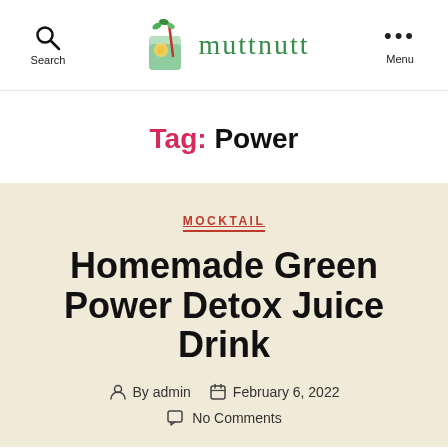muttnutt — Search | Menu
Tag: Power
MOCKTAIL
Homemade Green Power Detox Juice Drink
By admin  February 6, 2022
No Comments